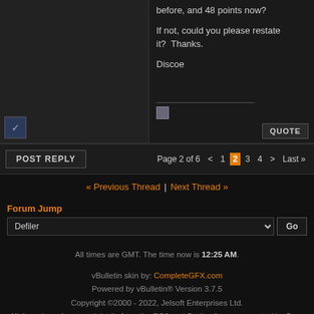before, and 48 points now?

If not, could you please restate it? Thanks.

Discoe
POST REPLY    Page 2 of 6  < 1 2 3 4 > Last »
« Previous Thread | Next Thread »
Forum Jump
Defiler
All times are GMT. The time now is 12:25 AM.
vBulletin skin by: CompleteGFX.com
Powered by vBulletin® Version 3.7.5
Copyright ©2000 - 2022, Jelsoft Enterprises Ltd.
All threads and posts originally from the EQ2 and Station forums operated by Sony Online Entertainment. Their use is by express written permission.
Contact Us - Login - Archive - Top